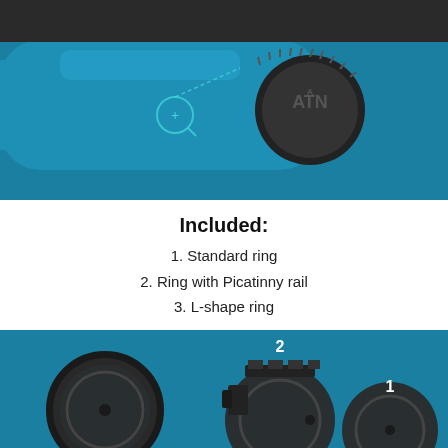[Figure (photo): Top portion of page showing a teal/blue ATN scope with a round black lens cap bearing the ATN logo, with a $799 BUY green button at top center]
Included:
1. Standard ring
2. Ring with Picatinny rail
3. L-shape ring
[Figure (photo): Blue background showing three rifle scope rings: labeled 3 (L-shape ring on left), 2 (Ring with Picatinny rail in center), 1 (Standard ring on right), all in dark matte black finish]